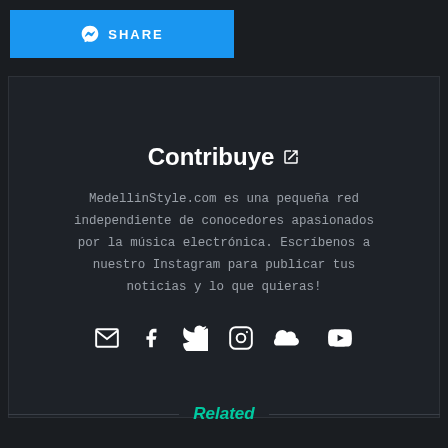[Figure (screenshot): Blue share button with Messenger icon and text SHARE]
Contribuye
MedellinStyle.com es una pequeña red independiente de conocedores apasionados por la música electrónica. Escríbenos a nuestro Instagram para publicar tus noticias y lo que quieras!
[Figure (infographic): Social media icons: email, Facebook, Twitter, Instagram, SoundCloud, YouTube]
Related